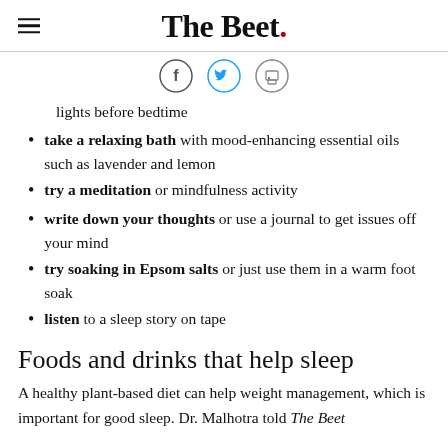The Beet.
[Figure (infographic): Social sharing icons: Facebook, Twitter, and Print in circular outlines]
lights before bedtime
take a relaxing bath with mood-enhancing essential oils such as lavender and lemon
try a meditation or mindfulness activity
write down your thoughts or use a journal to get issues off your mind
try soaking in Epsom salts or just use them in a warm foot soak
listen to a sleep story on tape
Foods and drinks that help sleep
A healthy plant-based diet can help weight management, which is important for good sleep. Dr. Malhotra told The Beet